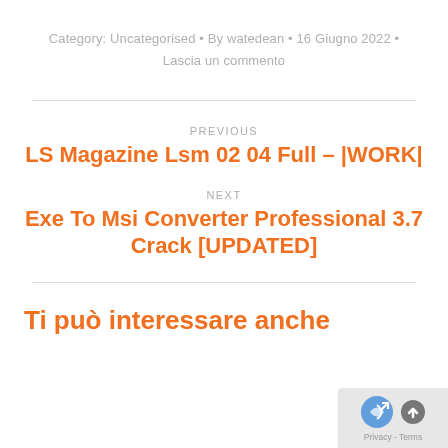Category: Uncategorised • By watedean • 16 Giugno 2022 • Lascia un commento
PREVIOUS
LS Magazine Lsm 02 04 Full – |WORK|
NEXT
Exe To Msi Converter Professional 3.7 Crack [UPDATED]
Ti può interessare anche